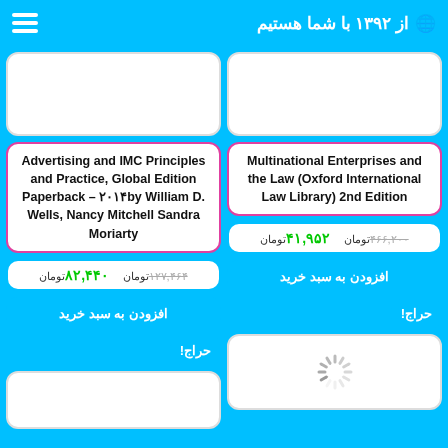از ۱۳۹۲ با شما هستیم
[Figure (other): White rounded rectangle book image placeholder - left column top]
Advertising and IMC Principles and Practice, Global Edition Paperback – ۲۰۱۴by William D. Wells, Nancy Mitchell Sandra Moriarty
۱۲۷,۴۶۴تومان ۸۲,۴۴۰ تومان
افزودن به سبد خرید
حراج!
[Figure (other): White rounded rectangle book image placeholder - right column top]
Multinational Enterprises and the Law (Oxford International Law Library) 2nd Edition
۴۶۶,۲۰۰تومان ۴۱,۹۵۲ تومان
افزودن به سبد خرید
حراج!
[Figure (other): Loading spinner icon]